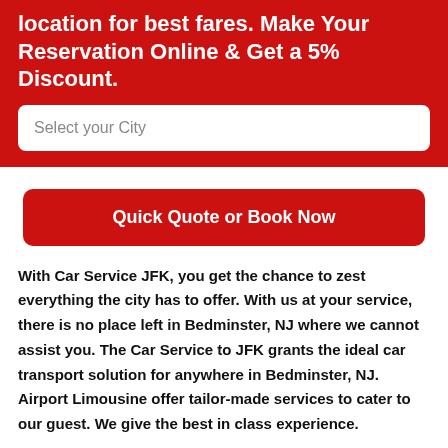location for best fares. Make Your Reservation Online & Get a 5% Discount.
Select your City
Quick Quote or Book Now
With Car Service JFK, you get the chance to zest everything the city has to offer. With us at your service, there is no place left in Bedminster, NJ where we cannot assist you. The Car Service to JFK grants the ideal car transport solution for anywhere in Bedminster, NJ. Airport Limousine offer tailor-made services to cater to our guest. We give the best in class experience.